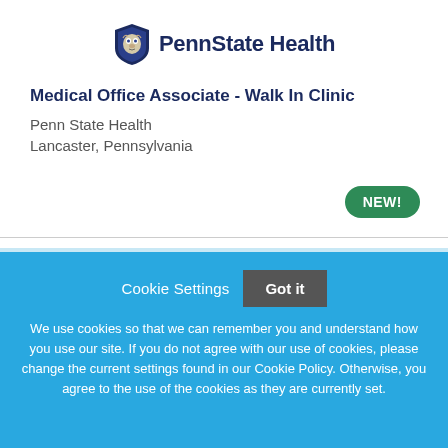[Figure (logo): Penn State Health logo with lion shield and text 'PennState Health']
Medical Office Associate - Walk In Clinic
Penn State Health
Lancaster, Pennsylvania
NEW!
Cookie Settings
Got it
We use cookies so that we can remember you and understand how you use our site. If you do not agree with our use of cookies, please change the current settings found in our Cookie Policy. Otherwise, you agree to the use of the cookies as they are currently set.